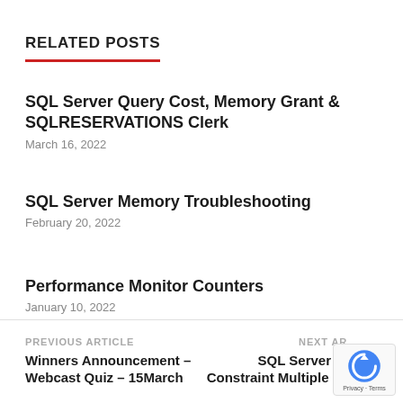RELATED POSTS
SQL Server Query Cost, Memory Grant & SQLRESERVATIONS Clerk
March 16, 2022
SQL Server Memory Troubleshooting
February 20, 2022
Performance Monitor Counters
January 10, 2022
PREVIOUS ARTICLE
Winners Announcement – Webcast Quiz – 15March
NEXT ARTICLE
SQL Server U… Constraint Multiple Null